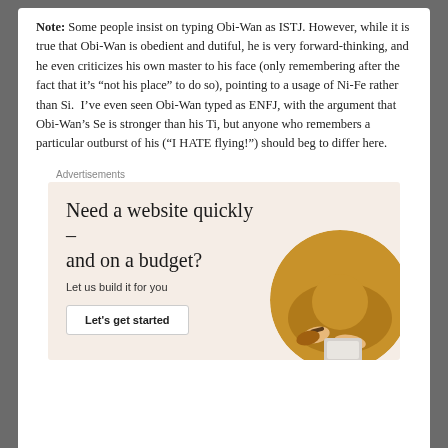Note: Some people insist on typing Obi-Wan as ISTJ. However, while it is true that Obi-Wan is obedient and dutiful, he is very forward-thinking, and he even criticizes his own master to his face (only remembering after the fact that it's “not his place” to do so), pointing to a usage of Ni-Fe rather than Si.  I’ve even seen Obi-Wan typed as ENFJ, with the argument that Obi-Wan’s Se is stronger than his Ti, but anyone who remembers a particular outburst of his (“I HATE flying!”) should beg to differ here.
Advertisements
[Figure (infographic): Advertisement with beige background. Headline: 'Need a website quickly – and on a budget?' Subtext: 'Let us build it for you'. Button: 'Let's get started'. Circular photo of hands working on a laptop/tablet in the bottom right.]